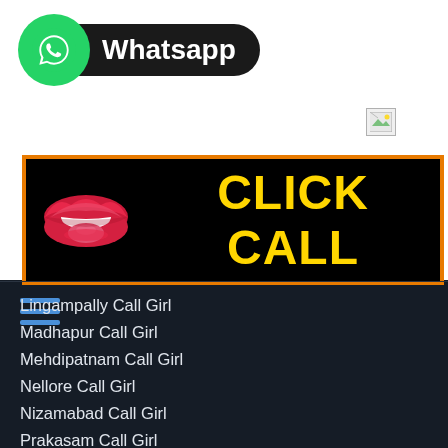[Figure (logo): WhatsApp logo with green circle and white phone icon, black pill-shaped label reading 'Whatsapp']
[Figure (other): Broken/missing image placeholder icon (small square with torn corner and green triangle)]
[Figure (other): Black banner with orange border, red lips illustration on left, bold yellow text reading 'CLICK CALL']
[Figure (other): Blue hamburger menu icon with three horizontal lines]
Lingampally Call Girl
Madhapur Call Girl
Mehdipatnam Call Girl
Nellore Call Girl
Nizamabad Call Girl
Prakasam Call Girl